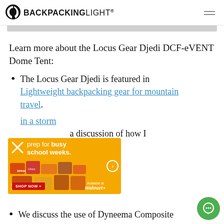BACKPACKINGLIGHT
Learn more about the Locus Gear Djedi DCF-eVENT Dome Tent:
The Locus Gear Djedi is featured in Lightweight backpacking gear for mountain travel.
...in a storm ... a discussion of how I ...Gear Djedi.
[Figure (other): Advertisement banner: orange background, 'prep for busy school weeks.' with food products image, Shop Now button, Available at Walmart]
We discuss the use of Dyneema Composite